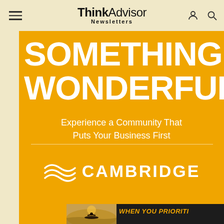ThinkAdvisor Newsletters
[Figure (illustration): Cambridge Investment advertisement banner with golden/amber background. Large white bold text reads 'SOMETHING WONDERFUL'. Subtitle: 'Experience a Community That Puts Your Business First'. Cambridge logo with wave icon at bottom.]
[Figure (photo): Partial bottom strip showing dark banner with 'WHEN YOU PRIORITI...' text in gold italic, and a scenic photo of a person kayaking on calm water at sunset.]